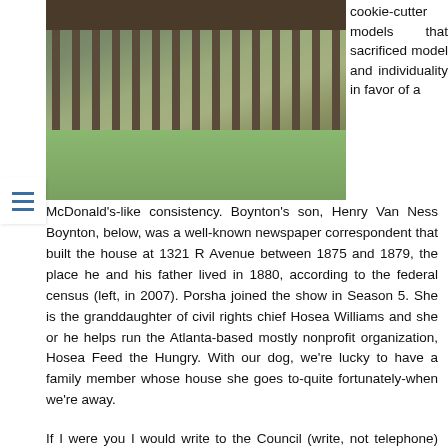[Figure (photo): Outdoor shed or barn structure with roof supported by pillars, bags or items stored underneath, grassy ground visible, photographed in 2007]
cookie-cutter models that sacrificed model and individuality in favor of a McDonald's-like consistency. Boynton's son, Henry Van Ness Boynton, below, was a well-known newspaper correspondent that built the house at 1321 R Avenue between 1875 and 1879, the place he and his father lived in 1880, according to the federal census (left, in 2007). Porsha joined the show in Season 5. She is the granddaughter of civil rights chief Hosea Williams and she or he helps run the Atlanta-based mostly nonprofit organization, Hosea Feed the Hungry. With our dog, we're lucky to have a family member whose house she goes to-quite fortunately-when we're away.

If I were you I would write to the Council (write, not telephone) and point out to themm that there is 3' of water underneath the floor, and that it will lead to structu...